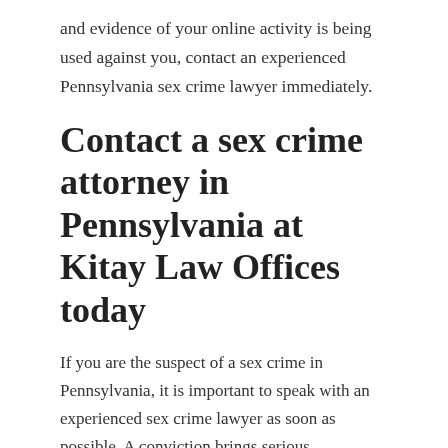and evidence of your online activity is being used against you, contact an experienced Pennsylvania sex crime lawyer immediately.
Contact a sex crime attorney in Pennsylvania at Kitay Law Offices today
If you are the suspect of a sex crime in Pennsylvania, it is important to speak with an experienced sex crime lawyer as soon as possible. A conviction brings serious consequences, including jail time, fines, and sex offender registration.
At Kitay Law Offices, we will investigate, and discuss